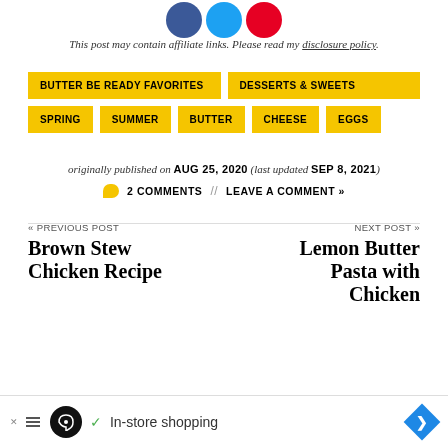[Figure (illustration): Social share icons: Facebook (blue circle), Twitter (light blue circle), Pinterest (red circle)]
This post may contain affiliate links. Please read my disclosure policy.
BUTTER BE READY FAVORITES
DESSERTS & SWEETS
SPRING
SUMMER
BUTTER
CHEESE
EGGS
originally published on AUG 25, 2020 (last updated SEP 8, 2021)
2 COMMENTS // LEAVE A COMMENT »
« PREVIOUS POST
Brown Stew Chicken Recipe
NEXT POST »
Lemon Butter Pasta with Chicken
[Figure (infographic): Advertisement banner: In-store shopping ad with logo and navigation arrow icon]